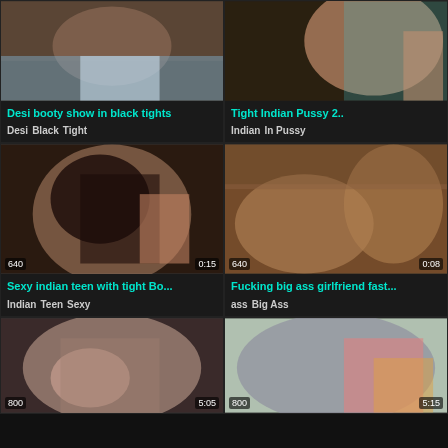[Figure (screenshot): Video thumbnail grid - adult video website showing 6 video thumbnails in 2-column layout with titles and tags]
Desi booty show in black tights
Desi   Black   Tight
Tight Indian Pussy 2..
Indian   In Pussy
Sexy indian teen with tight Bo...
Indian   Teen   Sexy
Fucking big ass girlfriend fast...
ass   Big Ass